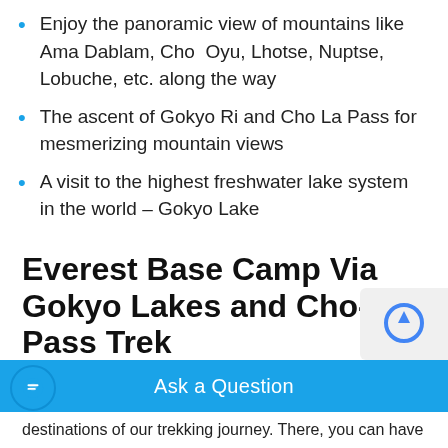Enjoy the panoramic view of mountains like Ama Dablam, Cho Oyu, Lhotse, Nuptse, Lobuche, etc. along the way
The ascent of Gokyo Ri and Cho La Pass for mesmerizing mountain views
A visit to the highest freshwater lake system in the world - Gokyo Lake
Everest Base Camp Via Gokyo Lakes and Cho-la Pass Trek
Everest Base Camp Trek via Gokyo Cho La Pass
rewards you with everything that the Everest reg
destinations of our trekking journey. There, you can have